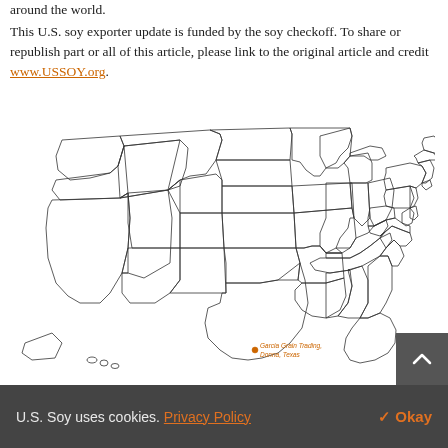around the world.
This U.S. soy exporter update is funded by the soy checkoff. To share or republish part or all of this article, please link to the original article and credit www.USSOY.org.
[Figure (map): Outline map of the contiguous United States with state borders shown. A label in orange text reads 'Garcia Grain Trading, Donna, Texas' near southern Texas.]
U.S. Soy uses cookies. Privacy Policy  ✓ Okay